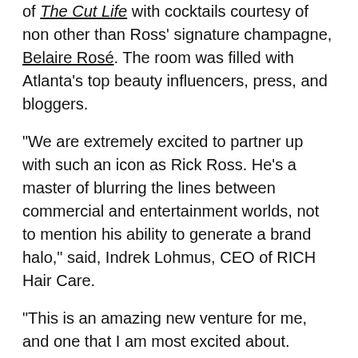of The Cut Life with cocktails courtesy of non other than Ross' signature champagne, Belaire Rosé. The room was filled with Atlanta's top beauty influencers, press, and bloggers.
"We are extremely excited to partner up with such an icon as Rick Ross. He's a master of blurring the lines between commercial and entertainment worlds, not to mention his ability to generate a brand halo," said, Indrek Lohmus, CEO of RICH Hair Care.
"This is an amazing new venture for me, and one that I am most excited about. Beauty and Hair care are both huge markets" says Rick Ross. “I appreciate and understand quality products, especially when those products are used to enhance your overall personal health and appearance. Being a supporter of men’s grooming and healthy facial hair in specific, I was more than pleasantly surprised with RICH Hair Care products and had personally used